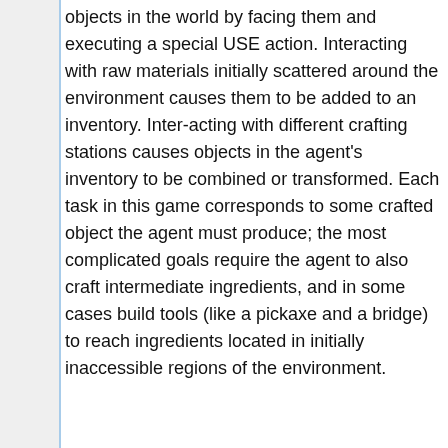objects in the world by facing them and executing a special USE action. Interacting with raw materials initially scattered around the environment causes them to be added to an inventory. Inter-acting with different crafting stations causes objects in the agent's inventory to be combined or transformed. Each task in this game corresponds to some crafted object the agent must produce; the most complicated goals require the agent to also craft intermediate ingredients, and in some cases build tools (like a pickaxe and a bridge) to reach ingredients located in initially inaccessible regions of the environment.
The maze environment (not pictured) corresponds closely to the the “light world” described by [4]. The agent is